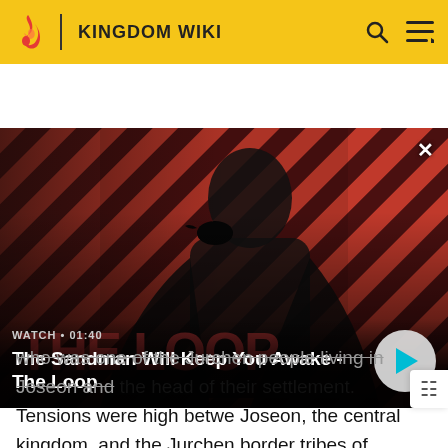KINGDOM WIKI
[Figure (screenshot): Video banner showing a dark-cloaked figure with a raven on shoulder against a red and black diagonal striped background. Text overlay: 'WATCH • 01:40 / The Sandman Will Keep You Awake - The Loop' with a play button.]
who was one of the Jurchen people living in Joseon and the head of their settlement. Tensions were high between Joseon, the central kingdom, and the Jurchen border tribes of Pajeowi. The Pajeowi had gathered their army at the basin of the Pajero River. As a result, the Joseon army recruited a group of Jurchens from Seongjeoyain to